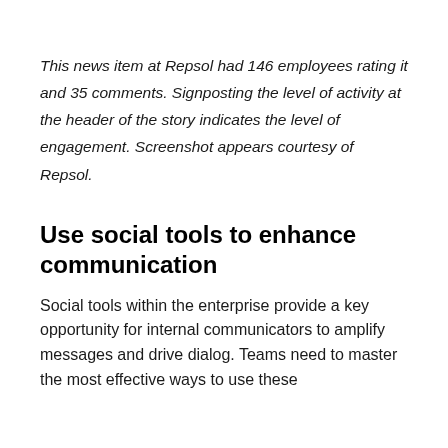This news item at Repsol had 146 employees rating it and 35 comments. Signposting the level of activity at the header of the story indicates the level of engagement. Screenshot appears courtesy of Repsol.
Use social tools to enhance communication
Social tools within the enterprise provide a key opportunity for internal communicators to amplify messages and drive dialog. Teams need to master the most effective ways to use these